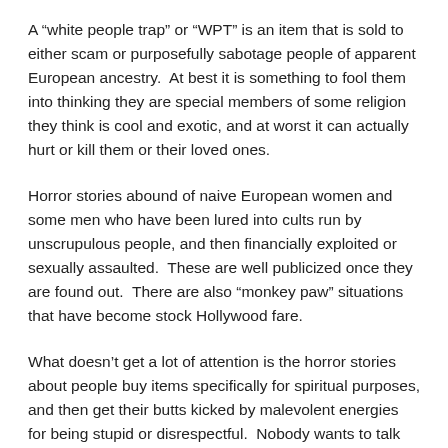A “white people trap” or “WPT” is an item that is sold to either scam or purposefully sabotage people of apparent European ancestry.  At best it is something to fool them into thinking they are special members of some religion they think is cool and exotic, and at worst it can actually hurt or kill them or their loved ones.
Horror stories abound of naive European women and some men who have been lured into cults run by unscrupulous people, and then financially exploited or sexually assaulted.  These are well publicized once they are found out.  There are also “monkey paw” situations that have become stock Hollywood fare.
What doesn’t get a lot of attention is the horror stories about people buy items specifically for spiritual purposes, and then get their butts kicked by malevolent energies for being stupid or disrespectful.  Nobody wants to talk about that.